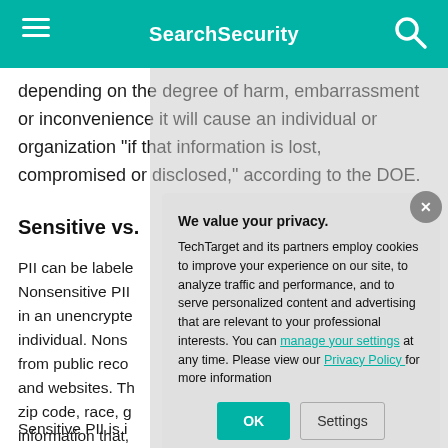SearchSecurity
depending on the degree of harm, embarrassment or inconvenience it will cause an individual or organization "if that information is lost, compromised or disclosed," according to the DOE.
Sensitive vs.
PII can be labeled as either sensitive or nonsensitive. Nonsensitive PII is information that can be transmitted in an unencrypted form without resulting in harm to the individual. Nonsensitive PII can be easily gathered from public records, phone books, corporate directories and websites. This could include: zip code, race, gender, religion and other demographic information that, while identifying, doesn't harm an individual's identity when revealed.
Sensitive PII is i
[Figure (screenshot): Privacy consent modal dialog with 'We value your privacy.' heading, body text about TechTarget cookies and privacy settings, links to 'manage your settings' and 'Privacy Policy', and OK and Settings buttons.]